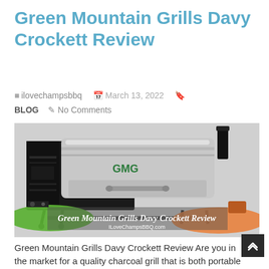Green Mountain Grills Davy Crockett Review
ilovechampsbbq   March 13, 2022   BLOG   No Comments
[Figure (photo): Green Mountain Grills Davy Crockett pellet grill, silver and black, with GMG logo. Overlaid banner reads 'Green Mountain Grills Davy Crockett Review' and 'ILoveChampsBBQ.com']
Green Mountain Grills Davy Crockett Review Are you in the market for a quality charcoal grill that is both portable and affordable? If so, the Green Mountain...